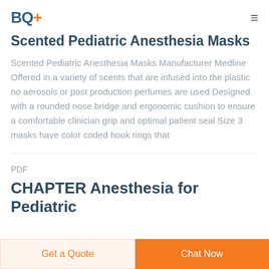BQ+
Scented Pediatric Anesthesia Masks
Scented Pediatric Anesthesia Masks Manufacturer Medline Offered in a variety of scents that are infused into the plastic no aerosols or post production perfumes are used Designed with a rounded nose bridge and ergonomic cushion to ensure a comfortable clinician grip and optimal patient seal Size 3 masks have color coded hook rings that
PDF
CHAPTER Anesthesia for Pediatric